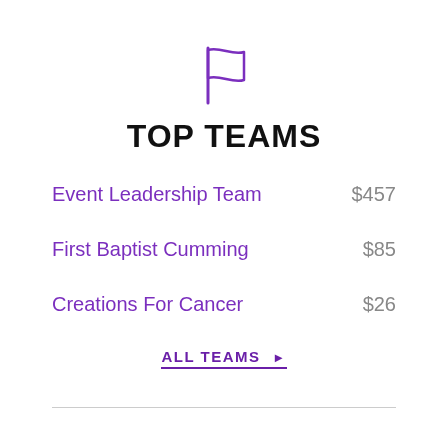[Figure (illustration): Purple outline flag icon centered at top]
TOP TEAMS
Event Leadership Team  $457
First Baptist Cumming  $85
Creations For Cancer  $26
ALL TEAMS ▶